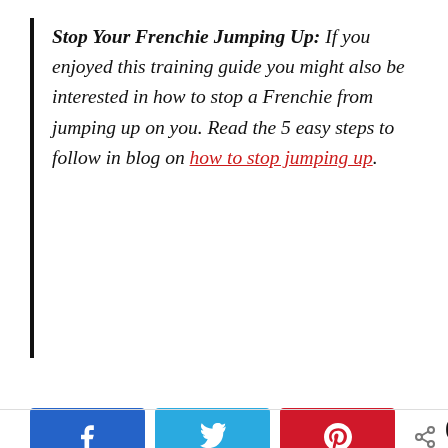Stop Your Frenchie Jumping Up: If you enjoyed this training guide you might also be interested in how to stop a Frenchie from jumping up on you. Read the 5 easy steps to follow in blog on how to stop jumping up.
[Figure (other): Social share buttons: Facebook (blue), Twitter (cyan), Pinterest (red), and a share count showing 0 SHARES]